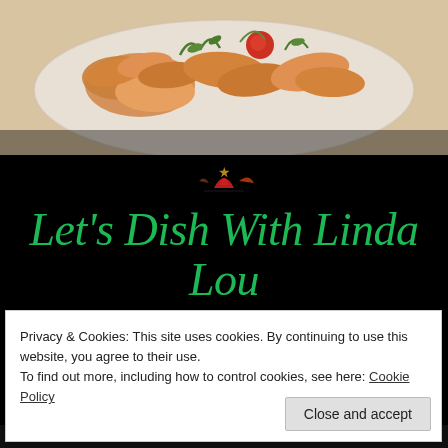[Figure (photo): Food photo showing appetizers/snacks on a plate with herbs, top portion of the page]
Let's Dish With Linda Lou
Where You Taste The Love
Menu....
Privacy & Cookies: This site uses cookies. By continuing to use this website, you agree to their use.
To find out more, including how to control cookies, see here: Cookie Policy
Close and accept